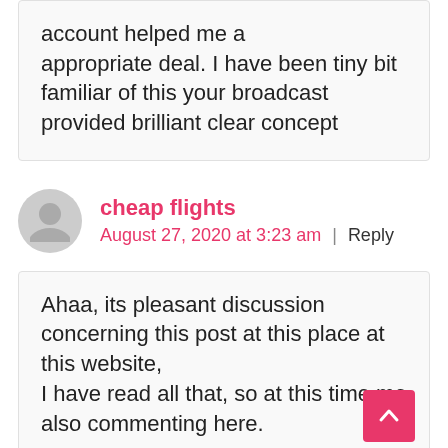account helped me a appropriate deal. I have been tiny bit familiar of this your broadcast provided brilliant clear concept
cheap flights
August 27, 2020 at 3:23 am | Reply
Ahaa, its pleasant discussion concerning this post at this place at this website,
I have read all that, so at this time me also commenting here.